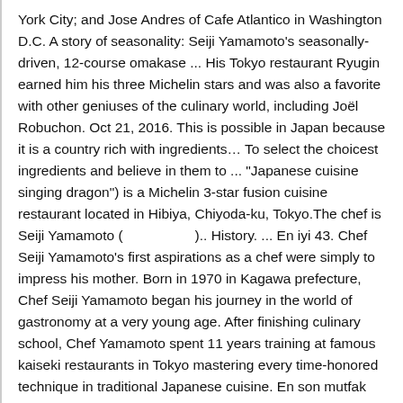York City; and Jose Andres of Cafe Atlantico in Washington D.C. A story of seasonality: Seiji Yamamoto's seasonally-driven, 12-course omakase ... His Tokyo restaurant Ryugin earned him his three Michelin stars and was also a favorite with other geniuses of the culinary world, including Joël Robuchon. Oct 21, 2016. This is possible in Japan because it is a country rich with ingredients… To select the choicest ingredients and believe in them to ... "Japanese cuisine singing dragon") is a Michelin 3-star fusion cuisine restaurant located in Hibiya, Chiyoda-ku, Tokyo.The chef is Seiji Yamamoto (　　　　　).. History. ... En iyi 43. Chef Seiji Yamamoto's first aspirations as a chef were simply to impress his mother. Born in 1970 in Kagawa prefecture, Chef Seiji Yamamoto began his journey in the world of gastronomy at a very young age. After finishing culinary school, Chef Yamamoto spent 11 years training at famous kaiseki restaurants in Tokyo mastering every time-honored technique in traditional Japanese cuisine. En son mutfak